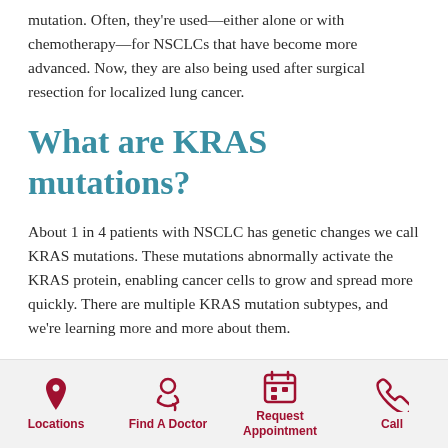mutation. Often, they're used—either alone or with chemotherapy—for NSCLCs that have become more advanced. Now, they are also being used after surgical resection for localized lung cancer.
What are KRAS mutations?
About 1 in 4 patients with NSCLC has genetic changes we call KRAS mutations. These mutations abnormally activate the KRAS protein, enabling cancer cells to grow and spread more quickly. There are multiple KRAS mutation subtypes, and we're learning more and more about them.
Locations | Find A Doctor | Request Appointment | Call